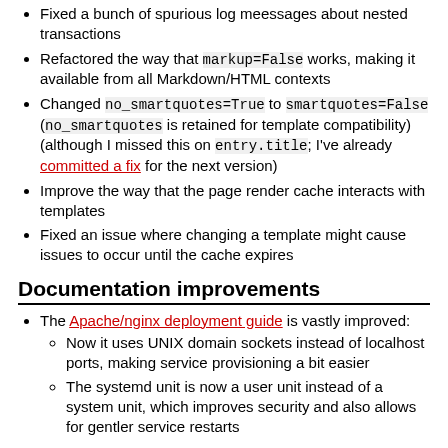Fixed a bunch of spurious log meessages about nested transactions
Refactored the way that markup=False works, making it available from all Markdown/HTML contexts
Changed no_smartquotes=True to smartquotes=False (no_smartquotes is retained for template compatibility) (although I missed this on entry.title; I've already committed a fix for the next version)
Improve the way that the page render cache interacts with templates
Fixed an issue where changing a template might cause issues to occur until the cache expires
Documentation improvements
The Apache/nginx deployment guide is vastly improved:
Now it uses UNIX domain sockets instead of localhost ports, making service provisioning a bit easier
The systemd unit is now a user unit instead of a system unit, which improves security and also allows for gentler service restarts